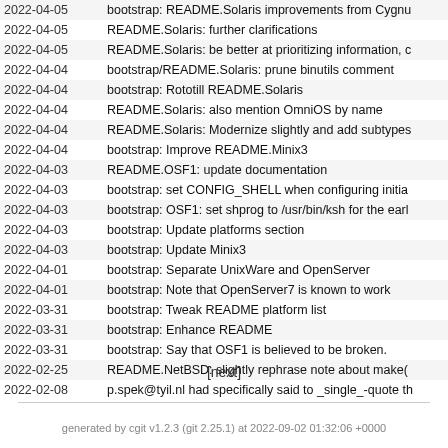2022-04-05  bootstrap: README.Solaris improvements from Cygnu
2022-04-05  README.Solaris: further clarifications
2022-04-05  README.Solaris: be better at prioritizing information, c
2022-04-04  bootstrap/README.Solaris: prune binutils comment
2022-04-04  bootstrap: Rototill README.Solaris
2022-04-04  README.Solaris: also mention OmniOS by name
2022-04-04  README.Solaris: Modernize slightly and add subtypes
2022-04-04  bootstrap: Improve README.Minix3
2022-04-03  README.OSF1: update documentation
2022-04-03  bootstrap: set CONFIG_SHELL when configuring initia
2022-04-03  bootstrap: OSF1: set shprog to /usr/bin/ksh for the earl
2022-04-03  bootstrap: Update platforms section
2022-04-03  bootstrap: Update Minix3
2022-04-01  bootstrap: Separate UnixWare and OpenServer
2022-04-01  bootstrap: Note that OpenServer7 is known to work
2022-03-31  bootstrap: Tweak README platform list
2022-03-31  bootstrap: Enhance README
2022-03-31  bootstrap: Say that OSF1 is believed to be broken.
2022-02-25  README.NetBSD: slightly rephrase note about make(
2022-02-08  p.spek@tyil.nl had specifically said to _single_-quote th
[next]
generated by cgit v1.2.3 (git 2.25.1) at 2022-09-02 01:32:06 +0000